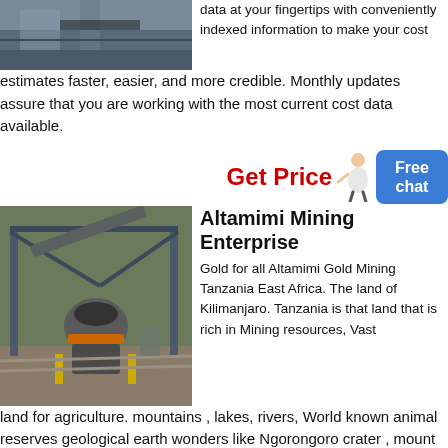[Figure (photo): Industrial mining equipment/machinery, partial view at top of page]
data at your fingertips with conveniently indexed information to make your cost estimates faster, easier, and more credible. Monthly updates assure that you are working with the most current cost data available.
[Figure (infographic): Get Price button with person icon and Free chat button]
[Figure (photo): Aerial/overhead view of large mining crusher equipment at a mine site]
Altamimi Mining Enterprise
Gold for all Altamimi Gold Mining Tanzania East Africa. The land of Kilimanjaro. Tanzania is that land that is rich in Mining resources, Vast land for agriculture. mountains , lakes, rivers, World known animal reserves geological earth wonders like Ngorongoro crater , mount Kilimanjaro, Oldvai Gorge.